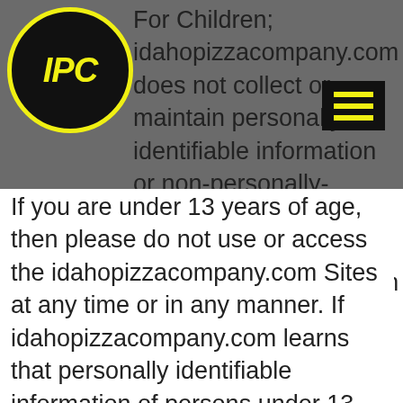[Figure (logo): IPC (Idaho Pizza Company) logo: black circle with yellow border and yellow italic bold text 'IPC']
[Figure (other): Hamburger menu button: black rectangle with three yellow horizontal lines]
For Children; idahopizzacompany.com does not collect or maintain personally identifiable information or non-personally-identifiable information on the idahopizzacompany.com Sites from persons under 13 years of age, and no part of our Website is directed to persons under 13. If you are under 13 years of age, then please do not use or access the idahopizzacompany.com Sites at any time or in any manner. If idahopizzacompany.com learns that personally identifiable information of persons under 13 years of age has been collected on the idahopizzacompany.com Sites without verified parental